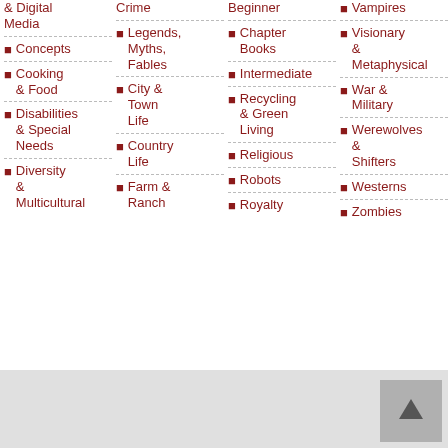& Digital Media
Concepts
Cooking & Food
Disabilities & Special Needs
Diversity & Multicultural
Crime
Legends, Myths, Fables
City & Town Life
Country Life
Farm & Ranch
Beginner
Chapter Books
Intermediate
Recycling & Green Living
Religious
Robots
Royalty
Vampires
Visionary & Metaphysical
War & Military
Werewolves & Shifters
Westerns
Zombies